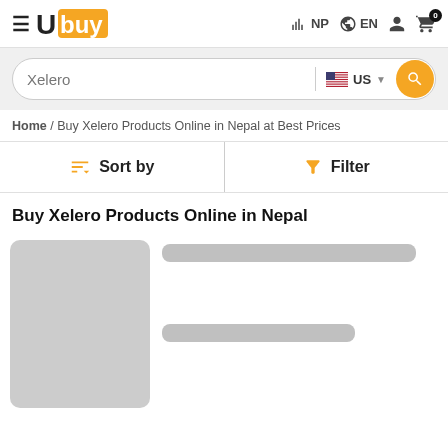Ubuy — NP EN (navbar with cart icon showing 0)
Xelero — Search bar with US flag country selector and search button
Home / Buy Xelero Products Online in Nepal at Best Prices
Sort by   Filter
Buy Xelero Products Online in Nepal
[Figure (screenshot): Loading skeleton placeholder for a product card with gray image block and gray text lines]